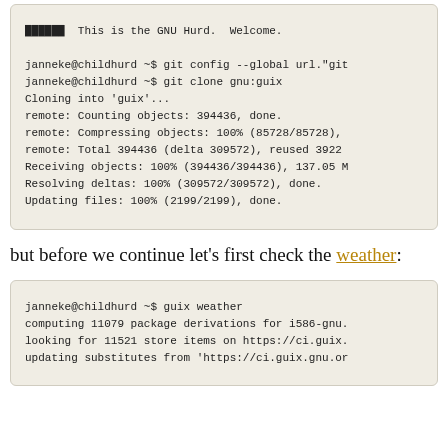██████   This is the GNU Hurd.  Welcome.

janneke@childhurd ~$ git config --global url."git
janneke@childhurd ~$ git clone gnu:guix
Cloning into 'guix'...
remote: Counting objects: 394436, done.
remote: Compressing objects: 100% (85728/85728),
remote: Total 394436 (delta 309572), reused 3922
Receiving objects: 100% (394436/394436), 137.05 M
Resolving deltas: 100% (309572/309572), done.
Updating files: 100% (2199/2199), done.
but before we continue let's first check the weather:
janneke@childhurd ~$ guix weather
computing 11079 package derivations for i586-gnu.
looking for 11521 store items on https://ci.guix.
updating substitutes from 'https://ci.guix.gnu.or